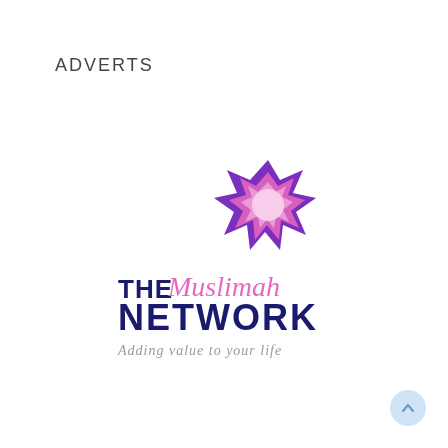ADVERTS
[Figure (logo): The Muslimah Network logo: a purple and pink geometric star/flower shape above the text 'THE Muslimah NETWORK' with tagline 'Adding value to your life']